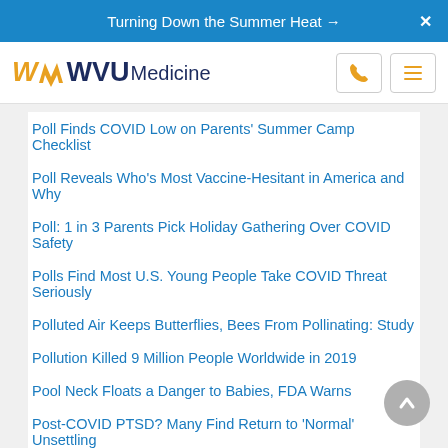Turning Down the Summer Heat → X
[Figure (logo): WVU Medicine logo with phone and menu icons]
Poll Finds COVID Low on Parents' Summer Camp Checklist
Poll Reveals Who's Most Vaccine-Hesitant in America and Why
Poll: 1 in 3 Parents Pick Holiday Gathering Over COVID Safety
Polls Find Most U.S. Young People Take COVID Threat Seriously
Polluted Air Keeps Butterflies, Bees From Pollinating: Study
Pollution Killed 9 Million People Worldwide in 2019
Pool Neck Floats a Danger to Babies, FDA Warns
Post-COVID PTSD? Many Find Return to 'Normal' Unsettling
Postpartum Depression Can Do Long-Term Harm to Women's Finances
Postpartum Depression Rates Have Tripled for New Moms During Pandemic